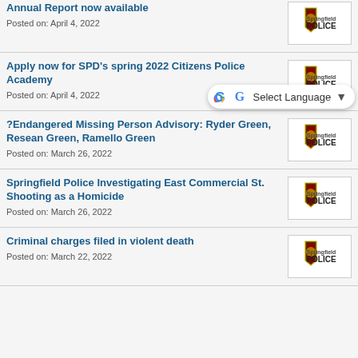Annual Report now available
Posted on: April 4, 2022
[Figure (logo): Springfield Police Department shield logo with text 'Springfield POLICE']
Apply now for SPD's spring 2022 Citizens Police Academy
Posted on: April 4, 2022
[Figure (logo): Springfield Police Department shield logo with text 'Springfield POLICE']
?Endangered Missing Person Advisory: Ryder Green, Resean Green, Ramello Green
Posted on: March 26, 2022
[Figure (logo): Springfield Police Department shield logo with text 'Springfield POLICE']
Springfield Police Investigating East Commercial St. Shooting as a Homicide
Posted on: March 26, 2022
[Figure (logo): Springfield Police Department shield logo with text 'Springfield POLICE']
Criminal charges filed in violent death
Posted on: March 22, 2022
[Figure (logo): Springfield Police Department shield logo with text 'Springfield POLICE']